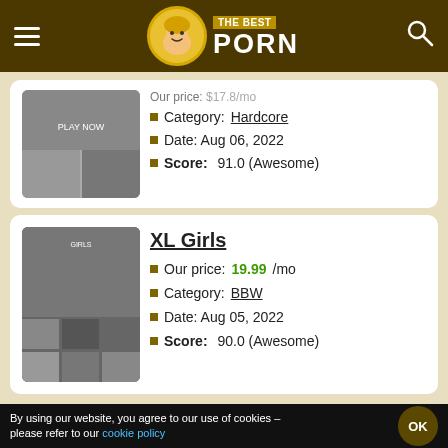THE BEST PORN
Our price: $17.8/mo
Category: Hardcore
Date: Aug 06, 2022
Score: 91.0 (Awesome)
XL Girls
Our price: 19.99/mo
Category: BBW
Date: Aug 05, 2022
Score: 90.0 (Awesome)
By using our website, you agree to our use of cookies - please refer to our cookie policy